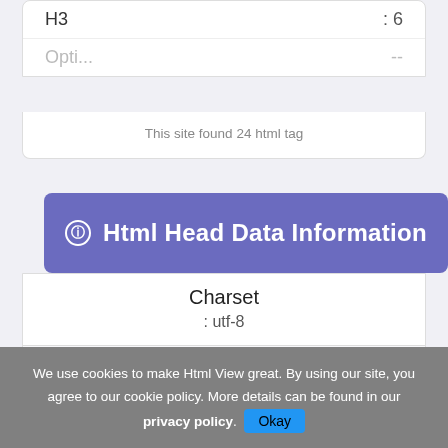|  |  |
| --- | --- |
| H3 | : 6 |
| Opti... | -- |
This site found 24 html tag
Html Head Data Information
Charset
: utf-8
Viewport
: width=device-width, user-scalable=no
We use cookies to make Html View great. By using our site, you agree to our cookie policy. More details can be found in our privacy policy. Okay